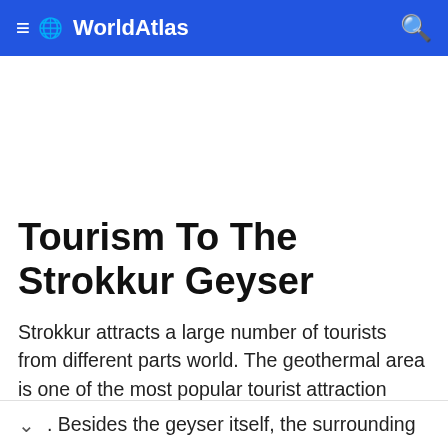≡ 🌐 WorldAtlas 🔍
Tourism To The Strokkur Geyser
Strokkur attracts a large number of tourists from different parts world. The geothermal area is one of the most popular tourist attraction sites in Iceland. The intriguing water eruption process is what keeps the flow of tourists to the site. The hot water spouts that erupt after a few minutes are interesting to . Besides the geyser itself, the surrounding